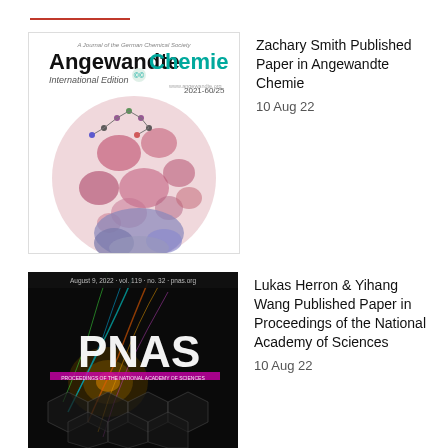[Figure (photo): Cover of Angewandte Chemie International Edition journal 2021-60/25, showing microscopy image of blood cells with molecular structures overlaid]
Zachary Smith Published Paper in Angewandte Chemie
10 Aug 22
[Figure (photo): Cover of PNAS (Proceedings of the National Academy of Sciences) journal, August 9, 2022, Vol. 119, No. 32, showing colorful neural/network imagery on dark background]
Lukas Herron & Yihang Wang Published Paper in Proceedings of the National Academy of Sciences
10 Aug 22